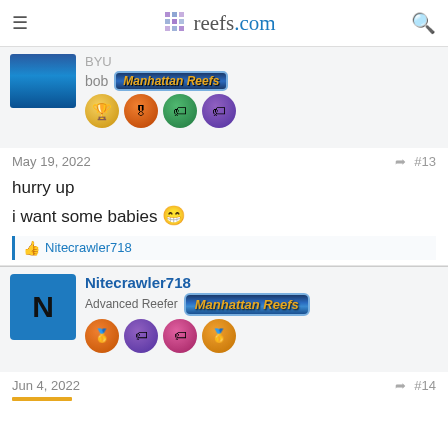reefs.com
BYU
bob  Manhattan Reefs
May 19, 2022  #13
hurry up
i want some babies 😁
Nitecrawler718
Nitecrawler718
Advanced Reefer  Manhattan Reefs
Jun 4, 2022  #14